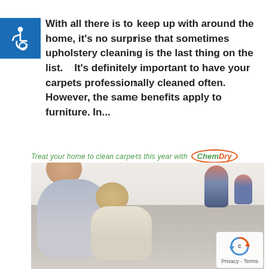[Figure (logo): Blue accessibility wheelchair icon in a blue square background]
With all there is to keep up with around the home, it's no surprise that sometimes upholstery cleaning is the last thing on the list.    It's definitely important to have your carpets professionally cleaned often. However, the same benefits apply to furniture. In...
Treat your home to clean carpets this year with ChemDry
[Figure (photo): A father and young child lying on a carpet playing video games, with a woman and child sitting on a couch in the background]
[Figure (logo): reCAPTCHA privacy icon with Privacy - Terms text]